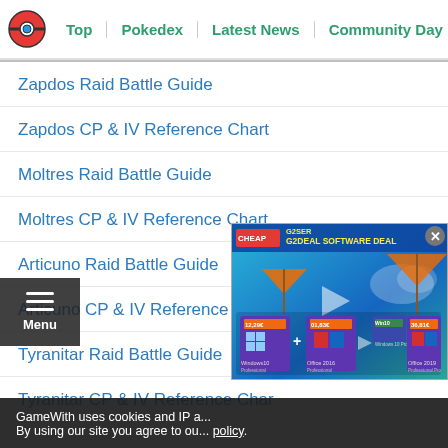Top | Pokedex | Latest News | Community Day | Tier L...
Zapdos Raid Battle Guide
Zapdos CP & IV Reference Chart
Moltres Raid Battle Guide
Moltres CP & IV Reference Chart
Articuno Raid Battle Guide
Articuno CP & IV Reference Chart
Tyranitar Raid Battle Guide
Tyranitar CP & IV Reference Cha...
[Figure (screenshot): G2Deal software deal advertisement overlay showing Windows 10 and Office 2016/2019 products with prices]
GameWith uses cookies and IP a... By using our site you agree to ou... policy.